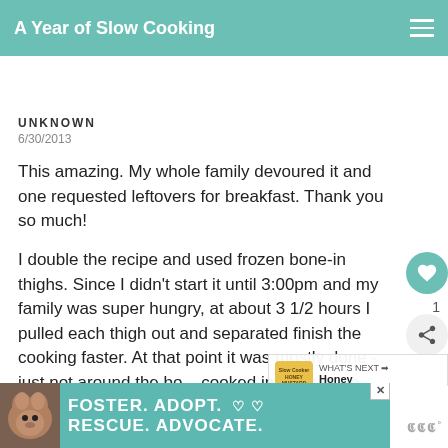A Year of Slow Cooking
UNKNOWN
6/30/2013
This amazing. My whole family devoured it and one requested leftovers for breakfast. Thank you so much!
I double the recipe and used frozen bone-in thighs. Since I didn't start it until 3:00pm and my family was super hungry, at about 3 1/2 hours I pulled each thigh out and separated finish the cooking faster. At that point it was mostly done - just not around the bo... cooked in 4 hours on high.
[Figure (screenshot): Ad banner: FOSTER. ADOPT. RESCUE. ADVOCATE. with dog image]
[Figure (screenshot): What's Next panel: Honey Mustard...]